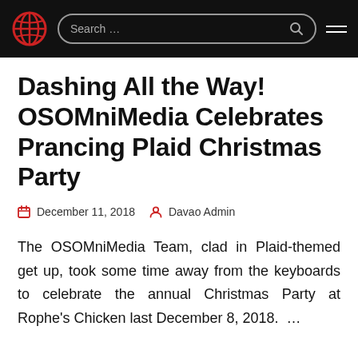OSOMniMedia — Search bar — Navigation
Dashing All the Way! OSOMniMedia Celebrates Prancing Plaid Christmas Party
December 11, 2018   Davao Admin
The OSOMniMedia Team, clad in Plaid-themed get up, took some time away from the keyboards to celebrate the annual Christmas Party at Rophe's Chicken last December 8, 2018.  ...